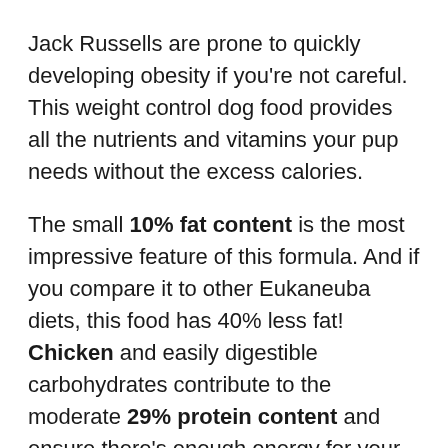Jack Russells are prone to quickly developing obesity if you're not careful. This weight control dog food provides all the nutrients and vitamins your pup needs without the excess calories.
The small 10% fat content is the most impressive feature of this formula. And if you compare it to other Eukaneuba diets, this food has 40% less fat! Chicken and easily digestible carbohydrates contribute to the moderate 29% protein content and ensure there's enough energy for your dog.
In addition, chicken contains L-carnitine. This